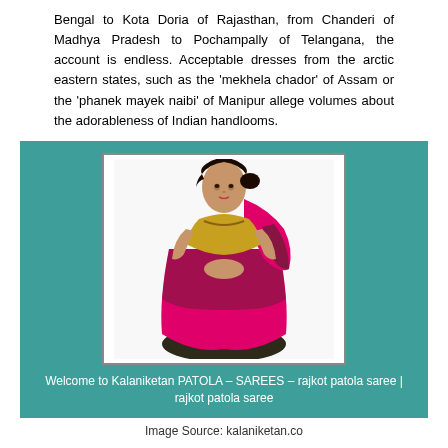Bengal to Kota Doria of Rajasthan, from Chanderi of Madhya Pradesh to Pochampally of Telangana, the account is endless. Acceptable dresses from the arctic eastern states, such as the ‘mekhela chador’ of Assam or the ‘phanek mayek naibi’ of Manipur allege volumes about the adorableness of Indian handlooms.
[Figure (photo): A woman wearing a pink and dark green/gold Patola saree, posed against a white background. Below the image frame is the caption: Welcome to Kalaniketan PATOLA – SAREES – rajkot patola saree | rajkot patola saree]
Image Source: kalaniketan.co
Indian handlooms, generally adumbrative in nature, are acclaimed by their aberrant methods, use of symbols and added imagery, colour, etc.
Sambalpur in Odisha, one of the key centres of ‘ikat’ handloom, is additionally accepted for its ‘bapta’ weaves, an aboriginal adjustment that amalgamate cottony and cotton. In fact, Odisha is a shopper’s